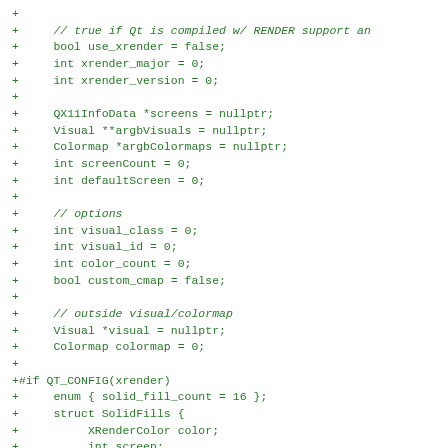+
+     // true if Qt is compiled w/ RENDER support an
+     bool use_xrender = false;
+     int xrender_major = 0;
+     int xrender_version = 0;
+
+     QX11InfoData *screens = nullptr;
+     Visual **argbVisuals = nullptr;
+     Colormap *argbColormaps = nullptr;
+     int screenCount = 0;
+     int defaultScreen = 0;
+
+     // options
+     int visual_class = 0;
+     int visual_id = 0;
+     int color_count = 0;
+     bool custom_cmap = false;
+
+     // outside visual/colormap
+     Visual *visual = nullptr;
+     Colormap colormap = 0;
+
+#if QT_CONFIG(xrender)
+     enum { solid_fill_count = 16 };
+     struct SolidFills {
+          XRenderColor color;
+          int screen;
+          Picture picture;
+     } solid_fills[solid_fill_count];
+     enum { pattern_fill_count = 16 };